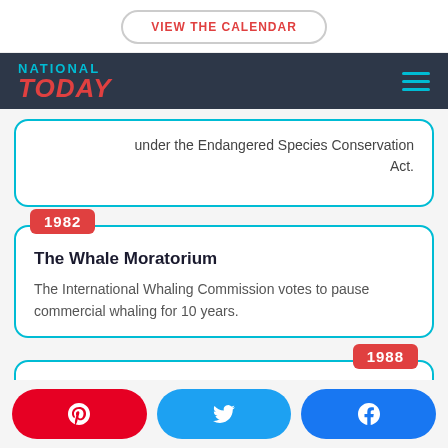VIEW THE CALENDAR
NATIONAL TODAY
under the Endangered Species Conservation Act.
1982
The Whale Moratorium
The International Whaling Commission votes to pause commercial whaling for 10 years.
1988
Pinterest share, Twitter share, Facebook share